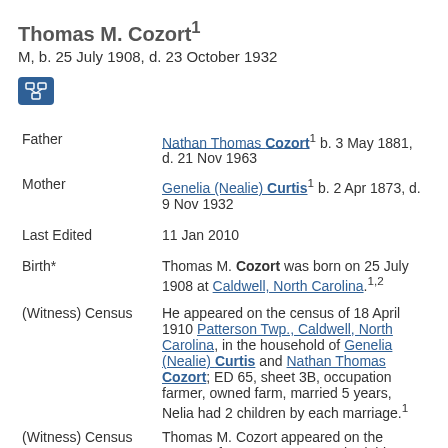Thomas M. Cozort¹
M, b. 25 July 1908, d. 23 October 1932
[Figure (other): Blue icon button with network/relationship diagram symbol]
| Father | Nathan Thomas Cozort¹ b. 3 May 1881, d. 21 Nov 1963 |
| Mother | Genelia (Nealie) Curtis¹ b. 2 Apr 1873, d. 9 Nov 1932 |
| Last Edited | 11 Jan 2010 |
| Birth* | Thomas M. Cozort was born on 25 July 1908 at Caldwell, North Carolina.1,2 |
| (Witness) Census | He appeared on the census of 18 April 1910 Patterson Twp., Caldwell, North Carolina, in the household of Genelia (Nealie) Curtis and Nathan Thomas Cozort; ED 65, sheet 3B, occupation farmer, owned farm, married 5 years, Nelia had 2 children by each marriage.¹ |
| (Witness) Census | Thomas M. Cozort appeared on the census of 12 January 1920 Rhodahiaa... |